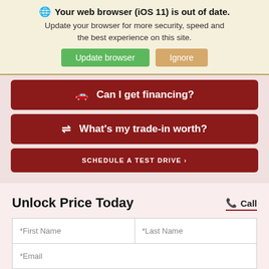🌐 Your web browser (iOS 11) is out of date. Update your browser for more security, speed and the best experience on this site.
Update browser | Ignore
🚗 Can I get financing?
⇄ What's my trade-in worth?
SCHEDULE A TEST DRIVE ›
Unlock Price Today
📞 Call
*First Name
*Last Name
*Email
*Phone